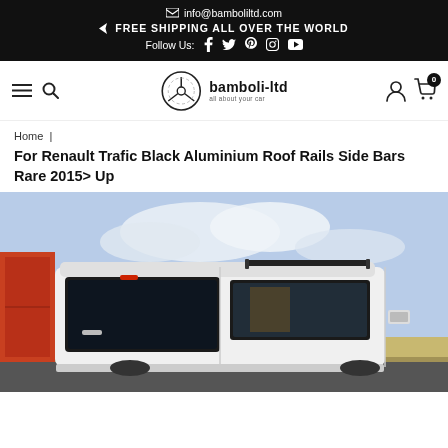✉ info@bamboliltd.com | ➤ FREE SHIPPING ALL OVER THE WORLD | Follow Us: f t p IG YT
[Figure (logo): Bamboli-ltd logo: steering wheel icon with text 'bamboli-ltd all about your car']
Home | For Renault Trafic Black Aluminium Roof Rails Side Bars Rare 2015> Up
For Renault Trafic Black Aluminium Roof Rails Side Bars Rare 2015> Up
[Figure (photo): Rear view of a white Renault Trafic van with black aluminium roof rails/side bars installed, parked outdoors with blue sky and fields in background]